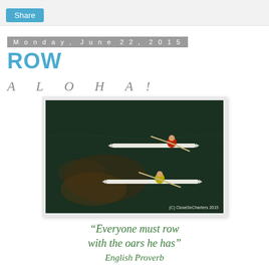Share
Monday, June 22, 2015
ROW
A L O H A !
[Figure (photo): Two rowers in narrow kayaks/sculls on dark green water, aerial view. One rower near top in red, one near bottom in yellow. Water shows ripples. Watermark reads (C) CloseSeCharters 2015]
“Everyone must row with the oars he has” English Proverb